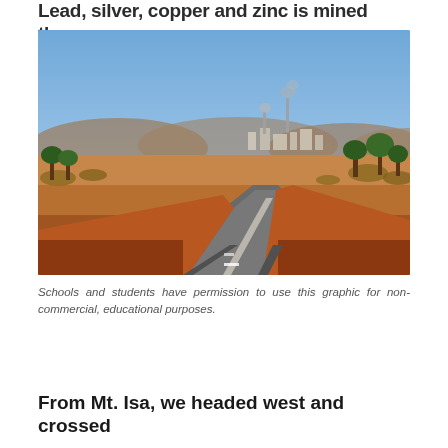Lead, silver, copper and zinc is mined there.
[Figure (photo): A red dirt outback road winding toward an industrial mining facility with smokestacks in the distance, surrounded by dry Australian scrubland and hills under a blue sky.]
Schools and students have permission to use this graphic for non-commercial, educational purposes.
From Mt. Isa, we headed west and crossed